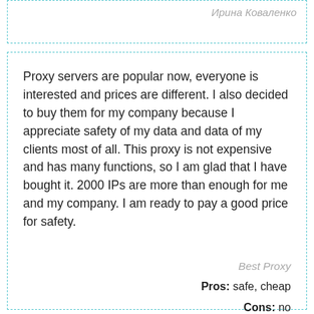Ирина Коваленко
Proxy servers are popular now, everyone is interested and prices are different. I also decided to buy them for my company because I appreciate safety of my data and data of my clients most of all. This proxy is not expensive and has many functions, so I am glad that I have bought it. 2000 IPs are more than enough for me and my company. I am ready to pay a good price for safety.
Best Proxy
Pros:  safe, cheap
Cons:  no
[Figure (other): Five gold star rating]
Белла Эмбустеро